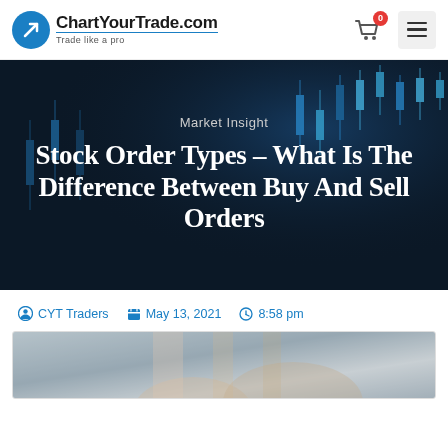ChartYourTrade.com — Trade like a pro
[Figure (screenshot): Website header with ChartYourTrade.com logo (blue circle with arrow icon), tagline 'Trade like a pro', shopping cart icon with badge '0', and hamburger menu button]
[Figure (photo): Dark hero banner with candlestick chart background showing blue/teal candles on dark background]
Market Insight
Stock Order Types – What Is The Difference Between Buy And Sell Orders
CYT Traders   May 13, 2021   8:58 pm
[Figure (photo): Partial view of a person's hands, blurred background, bottom of article image]